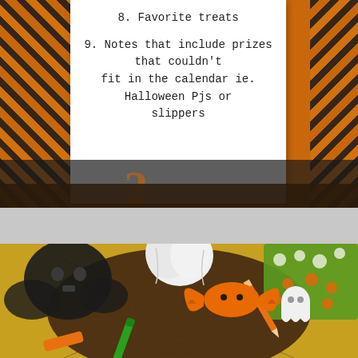[Figure (photo): Top portion of a Halloween advent calendar photo showing orange and black patterned fabric borders on left and right sides with a white card/paper in the center containing list items 8 and 9]
8. Favorite treats
9. Notes that include prizes that couldn't fit in the calendar ie. Halloween Pjs or slippers
[Figure (photo): Bottom photo showing a collection of Halloween items including black skull/bat decorations, white ceramic pumpkin, orange bat balloon, white ghost figurine, green marker, orange pencil, Halloween sticker sheet with ghosts and jack-o-lanterns on green background, all arranged on a brown/black spiderweb fabric on a tan/yellow surface]